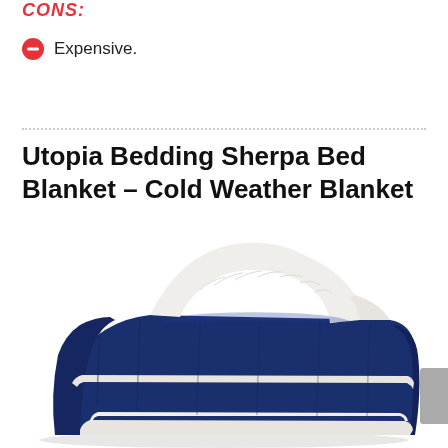CONS:
Expensive.
Utopia Bedding Sherpa Bed Blanket – Cold Weather Blanket
[Figure (photo): A folded navy blue sherpa bed blanket with white sherpa interior visible on top, photographed on a white background.]